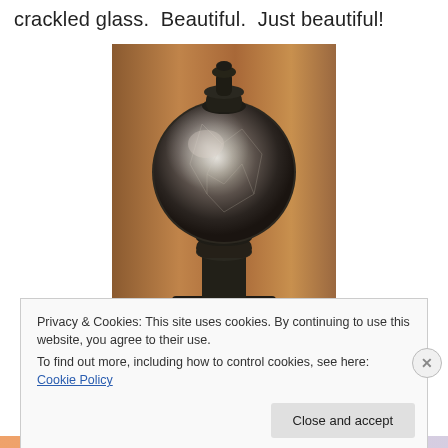crackled glass.  Beautiful.  Just beautiful!
[Figure (photo): A decorative lantern or candleholder with a spherical crackled glass globe mounted on a black ornamental pedestal/base, photographed against a warm copper/brown curtain background.]
Privacy & Cookies: This site uses cookies. By continuing to use this website, you agree to their use.
To find out more, including how to control cookies, see here: Cookie Policy
Close and accept